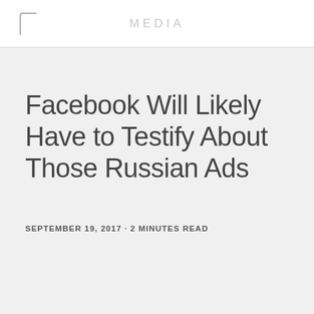MEDIA
Facebook Will Likely Have to Testify About Those Russian Ads
SEPTEMBER 19, 2017 · 2 MINUTES READ